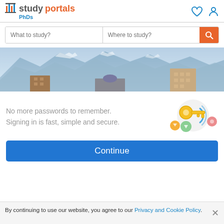studyportals PhDs
What to study?  Where to study?
[Figure (photo): City skyline with mountains in the background, showing several multi-story buildings against a blue mountain range.]
[Figure (illustration): Colorful illustration of a golden key with circular passcode/wifi signals around it, along with colorful circles (orange, green, pink) suggesting passwordless sign-in.]
No more passwords to remember. Signing in is fast, simple and secure.
Continue
By continuing to use our website, you agree to our Privacy and Cookie Policy.